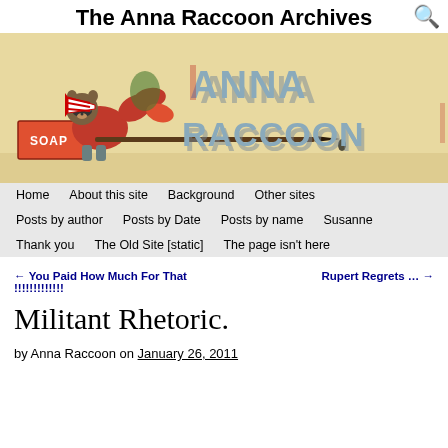The Anna Raccoon Archives
[Figure (illustration): Banner illustration of a raccoon in a red shirt sitting on a soap box, using a large pen/quill as a weapon, with 'ANNA RACCOON' text in large 3D letters on a warm tan/cream background]
Home  About this site  Background  Other sites
Posts by author  Posts by Date  Posts by name  Susanne
Thank you  The Old Site [static]  The page isn't here
← You Paid How Much For That !!!!!!!!!!!! | Rupert Regrets … →
Militant Rhetoric.
by Anna Raccoon on January 26, 2011